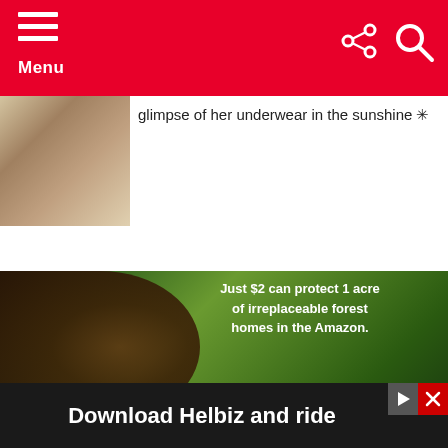Menu
glimpse of her underwear in the sunshine ✳
[Figure (photo): Partial thumbnail image of person on bicycle, skirt blowing up]
[Figure (photo): Advertisement showing capuchin monkeys in Amazon rainforest with text: Just $2 can protect 1 acre of irreplaceable forest homes in the Amazon. How many acres will you protect?]
Download Helbiz and ride